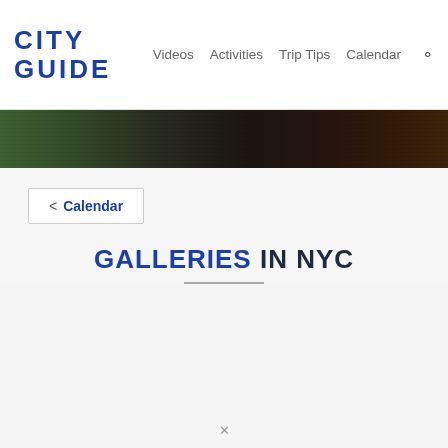CITY GUIDE | Videos  Activities  Trip Tips  Calendar
[Figure (photo): Dark abstract banner image with rainbow-like horizontal color streaks on a dark background]
< Calendar
GALLERIES IN NYC